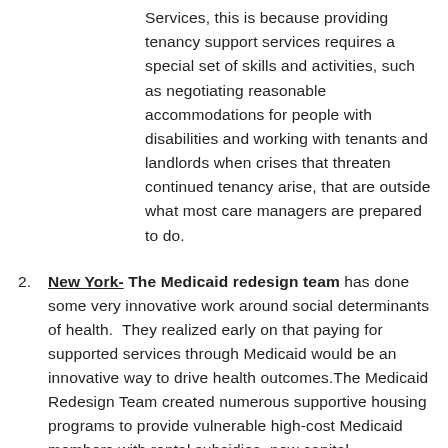Services, this is because providing tenancy support services requires a special set of skills and activities, such as negotiating reasonable accommodations for people with disabilities and working with tenants and landlords when crises that threaten continued tenancy arise, that are outside what most care managers are prepared to do.
2. New York- The Medicaid redesign team has done some very innovative work around social determinants of health. They realized early on that paying for supported services through Medicaid would be an innovative way to drive health outcomes.The Medicaid Redesign Team created numerous supportive housing programs to provide vulnerable high-cost Medicaid members with rental subsidies, new capital construction and pilot projects to test new models of care